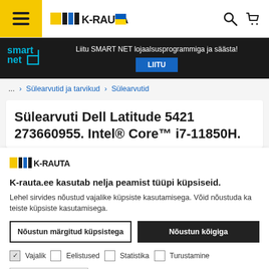[Figure (screenshot): K-Rauta website header with hamburger menu, K-Rauta logo with Ukrainian flag, search icon and cart icon]
[Figure (infographic): Smart Net loyalty program banner: 'Liitu SMART NET lojaalsusprogrammiga ja säästa!' with LIITU button on dark background]
... > Sülearvutid ja tarvikud > Sülearvutid
Sülearvuti Dell Latitude 5421 273660955. Intel® Core™ i7-11850H.
[Figure (logo): K-Rauta logo (small)]
K-rauta.ee kasutab nelja peamist tüüpi küpsiseid.
Lehel sirvides nõustud vajalike küpsiste kasutamisega. Võid nõustuda ka teiste küpsiste kasutamisega.
Nõustun märgitud küpsistega | Nõustun kõigiga
Vajalik  Eelistused  Statistika  Turustamine
Näita andmeid